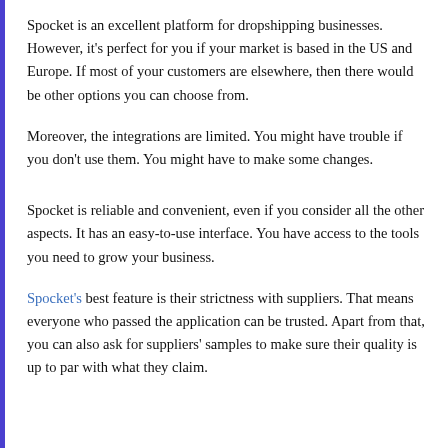Spocket is an excellent platform for dropshipping businesses. However, it's perfect for you if your market is based in the US and Europe. If most of your customers are elsewhere, then there would be other options you can choose from.
Moreover, the integrations are limited. You might have trouble if you don't use them. You might have to make some changes.
Spocket is reliable and convenient, even if you consider all the other aspects. It has an easy-to-use interface. You have access to the tools you need to grow your business.
Spocket's best feature is their strictness with suppliers. That means everyone who passed the application can be trusted. Apart from that, you can also ask for suppliers' samples to make sure their quality is up to par with what they claim.